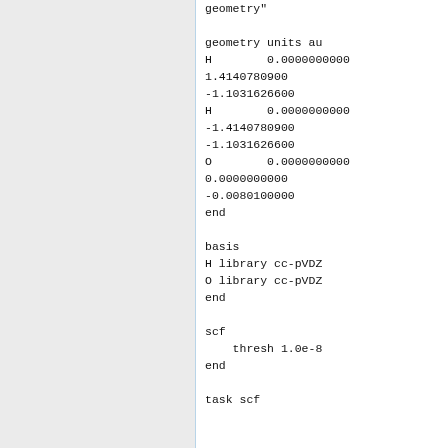geometry"

geometry units au
H        0.0000000000
1.4140780900
-1.1031626600
H        0.0000000000
-1.4140780900
-1.1031626600
O        0.0000000000
0.0000000000
-0.0080100000
end

basis
H library cc-pVDZ
O library cc-pVDZ
end

scf
    thresh 1.0e-8
end

task scf